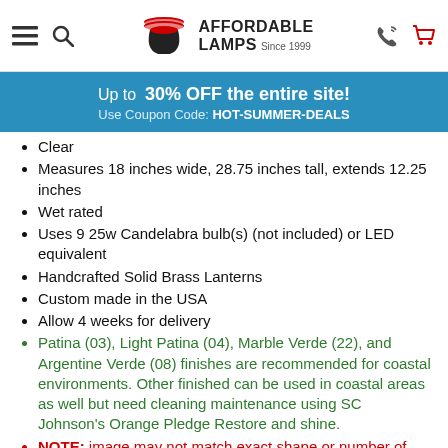Affordable Lamps Since 1999
Up to 30% OFF the entire site! Use Coupon Code: HOT-SUMMER-DEALS
Clear
Measures 18 inches wide, 28.75 inches tall, extends 12.25 inches
Wet rated
Uses 9 25w Candelabra bulb(s) (not included) or LED equivalent
Handcrafted Solid Brass Lanterns
Custom made in the USA
Allow 4 weeks for delivery
Patina (03), Light Patina (04), Marble Verde (22), and Argentine Verde (08) finishes are recommended for coastal environments. Other finished can be used in coastal areas as well but need cleaning maintenance using SC Johnson's Orange Pledge Restore and shine.
NOTE: image may not match exact shape or number of sockets. See dimension and lamping info above for specifics.